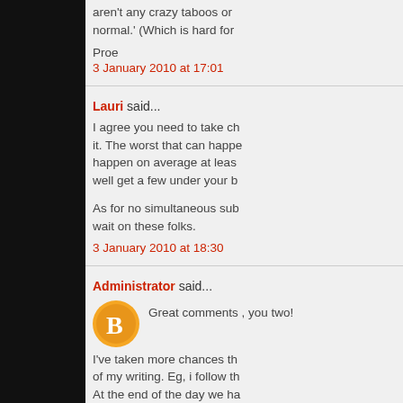aren't any crazy taboos or normal.' (Which is hard for
Proe
3 January 2010 at 17:01
Lauri said...
I agree you need to take ch it. The worst that can happe happen on average at leas well get a few under your b
As for no simultaneous sub wait on these folks.
3 January 2010 at 18:30
Administrator said...
Great comments , you two!
I've taken more chances th of my writing. Eg, i follow th At the end of the day we ha work. This doesn't mean pe